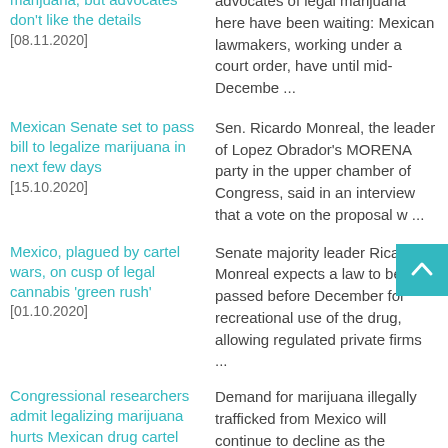marijuana, but advocates don't like the details [08.11.2020]
advocates of legal marijuana here have been waiting: Mexican lawmakers, working under a court order, have until mid-Decembe ...
Mexican Senate set to pass bill to legalize marijuana in next few days [15.10.2020]
Sen. Ricardo Monreal, the leader of Lopez Obrador's MORENA party in the upper chamber of Congress, said in an interview that a vote on the proposal w ...
Mexico, plagued by cartel wars, on cusp of legal cannabis 'green rush' [01.10.2020]
Senate majority leader Ricardo Monreal expects a law to be passed before December for recreational use of the drug, allowing regulated private firms ...
Congressional researchers admit legalizing marijuana hurts Mexican drug cartel profits [08.08.2020]
Demand for marijuana illegally trafficked from Mexico will continue to decline as the legalization ...